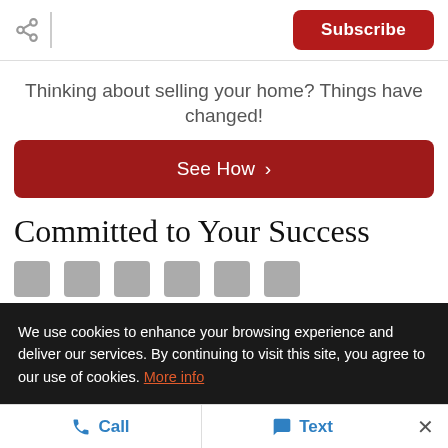Subscribe
Thinking about selling your home? Things have changed!
See How ›
Committed to Your Success
We use cookies to enhance your browsing experience and deliver our services. By continuing to visit this site, you agree to our use of cookies. More info
Call  Text